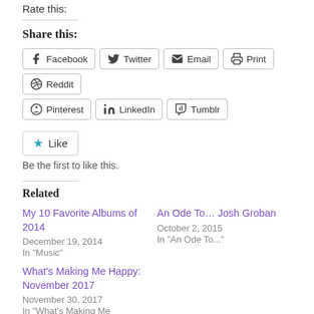Rate this:
Share this:
Facebook  Twitter  Email  Print  Reddit  Pinterest  LinkedIn  Tumblr
★ Like
Be the first to like this.
Related
My 10 Favorite Albums of 2014
December 19, 2014
In "Music"
An Ode To… Josh Groban
October 2, 2015
In "An Ode To..."
What's Making Me Happy: November 2017
November 30, 2017
In "What's Making Me Happy..."